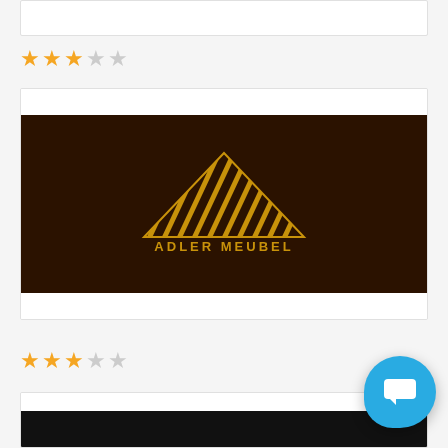[Figure (screenshot): Top white card strip, partially visible]
[Figure (other): Star rating: 3 out of 5 stars (3 filled orange, 2 empty grey)]
[Figure (logo): Adler Meubel Home Furnishing logo on dark brown background with gold triangular A-shape made of diagonal lines and text ADLER MEUBEL HOME FURNISHING]
[Figure (other): Star rating: 3 out of 5 stars (3 filled orange, 2 empty grey)]
[Figure (screenshot): Bottom card partially visible showing a dark banner with decorative logo]
[Figure (other): Chat button: blue rounded square bubble icon in bottom right corner]